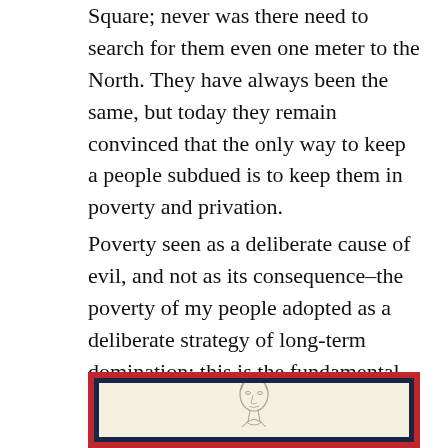Square; never was there need to search for them even one meter to the North. They have always been the same, but today they remain convinced that the only way to keep a people subdued is to keep them in poverty and privation.
Poverty seen as a deliberate cause of evil, and not as its consequence–the poverty of my people adopted as a deliberate strategy of long-term domination: this is the fundamental and revelatory concept that once and for all puts everything in perspective.
[Figure (illustration): A framed illustration with a red outer border and dark navy inner border, cream/off-white background, showing a partial sketch of a figure (head/bust), cropped at the bottom of the page.]